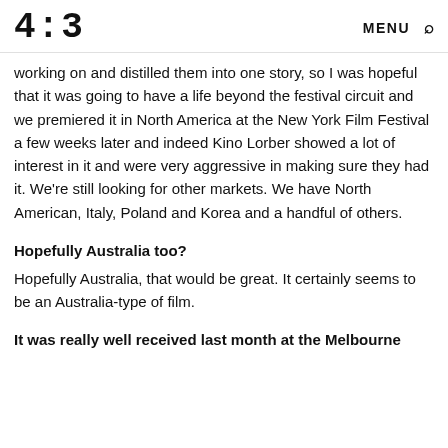4:3 MENU 🔍
working on and distilled them into one story, so I was hopeful that it was going to have a life beyond the festival circuit and we premiered it in North America at the New York Film Festival a few weeks later and indeed Kino Lorber showed a lot of interest in it and were very aggressive in making sure they had it. We're still looking for other markets. We have North American, Italy, Poland and Korea and a handful of others.
Hopefully Australia too?
Hopefully Australia, that would be great. It certainly seems to be an Australia-type of film.
It was really well received last month at the Melbourne